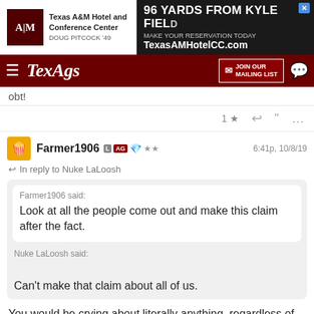[Figure (screenshot): Texas A&M Hotel and Conference Center advertisement banner with logo and '96 YARDS FROM KYLE FIELD' text]
[Figure (screenshot): TexAgs navigation bar with hamburger menu, TexAgs logo, JOIN OUR MAILING LIST button, and chat icon]
obt!
1 ★ ↩ ❝ …
Farmer1906  L  AG  💎  ★★  6:41p, 10/8/19
↩ In reply to Nuke LaLoosh
Farmer1906 said:
Look at all the people come out and make this claim after the fact.
Nuke LaLoosh said:

Can't make that claim about all of us.
You would be crying about literally anything, regardless of what it is.
1 ★ ↩ ❝ …